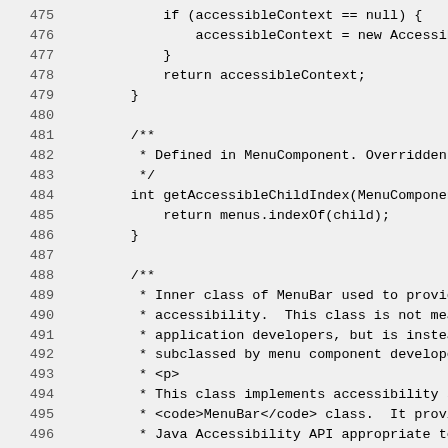[Figure (screenshot): Source code screenshot showing Java code lines 475-504, monospace font on light gray background. Code includes an if-statement checking accessibleContext == null, a return statement, closing braces, Javadoc comments describing inner class AccessibleAWTMenuBar, and a class declaration.]